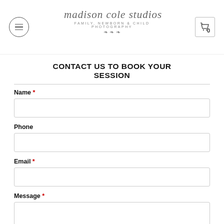madison cole studios — FAMILY, NEWBORN & CHILD PHOTOGRAPHY
CONTACT US TO BOOK YOUR SESSION
Name *
Phone
Email *
Message *